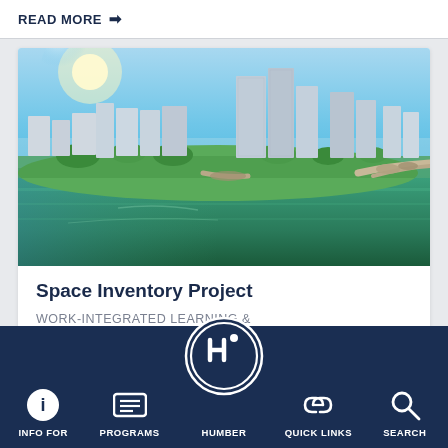READ MORE →
[Figure (photo): Aerial panoramic photo of a waterfront city with high-rise buildings, green parks, and a large body of water (lake or harbour). Clear blue sky with sun glare in upper left.]
Space Inventory Project
WORK-INTEGRATED LEARNING & COMMUNITY PART…
INFO FOR | PROGRAMS | HUMBER | QUICK LINKS | SEARCH